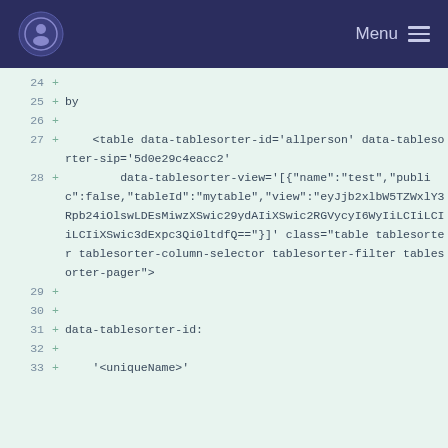Menu
[Figure (screenshot): Code diff view showing lines 24-33 of an HTML/template file with a table element having data-tablesorter attributes including id='allperson', data-tablesorter-sip, data-tablesorter-view with a JSON token, and class attributes. Lines are prefixed with + indicating additions.]